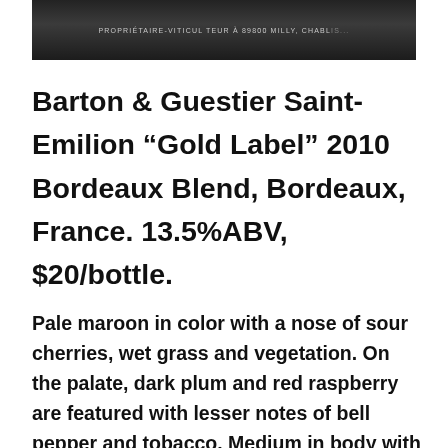[Figure (photo): Close-up photo of the bottom portion of a dark wine bottle label reading: PROPRIÉTAIRE-VITICULTEUR À 89800 MILLY, CHABLIS (partially visible)]
Barton & Guestier Saint-Emilion “Gold Label” 2010 Bordeaux Blend, Bordeaux, France. 13.5%ABV, $20/bottle.
Pale maroon in color with a nose of sour cherries, wet grass and vegetation. On the palate, dark plum and red raspberry are featured with lesser notes of bell pepper and tobacco. Medium in body with...